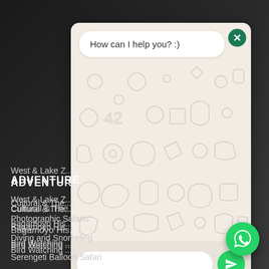[Figure (screenshot): Dark website background with navigation menu items and a WhatsApp chat popup overlay]
ADVENTURE
Cultural & The...
Bagamoyo His...
Bird Watching ...
West & Lake Z...
Photographic Safaris
Diving and Snorkeling
Serengeti Balloon Safari
How can I help you? :)